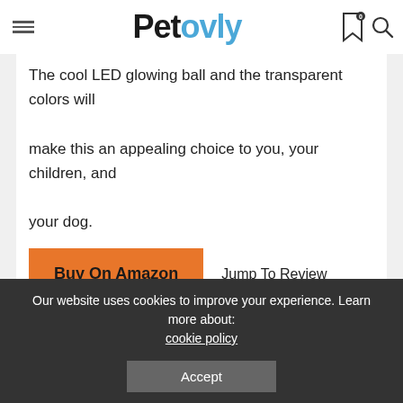Petovly
The cool LED glowing ball and the transparent colors will make this an appealing choice to you, your children, and your dog.
Buy On Amazon   Jump To Review
BEST INTERACTIVE SMALL BALL LAUNCHER
[Figure (photo): Blue ball launcher product image, partially visible]
Our website uses cookies to improve your experience. Learn more about: cookie policy
Accept